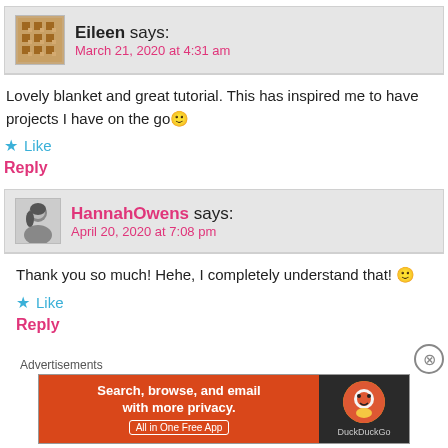Eileen says: March 21, 2020 at 4:31 am
Lovely blanket and great tutorial. This has inspired me to have projects I have on the go 🙂
Like
Reply
HannahOwens says: April 20, 2020 at 7:08 pm
Thank you so much! Hehe, I completely understand that! 🙂
Like
Reply
Advertisements
[Figure (screenshot): DuckDuckGo advertisement banner: Search, browse, and email with more privacy. All in One Free App]